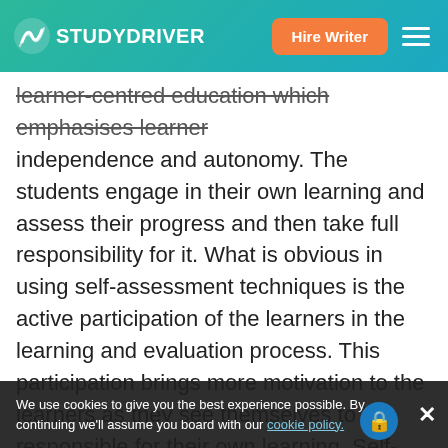STUDYDRIVER | Hire Writer
learner-centred education which emphasises learner independence and autonomy. The students engage in their own learning and assess their progress and then take full responsibility for it. What is obvious in using self-assessment techniques is the active participation of the learners in the learning and evaluation process. This participation brings more motivation to the learners as they see themselves to be responsible for their own learning. Self-assessment is one of the most important tools that teachers use to motivate students in learning. Teachers help them to use their own inner power which causes them to think, to engage and to achieve meaningful learning. Research has shown that using self-assessment can positively influence intrinsic motivation levels in students (Rolheiser & Ross, 1998). 3 Self-assessment results i... implement the procedure properly. Researchers will get
We use cookies to give you the best experience possible. By continuing we'll assume you board with our cookie policy.